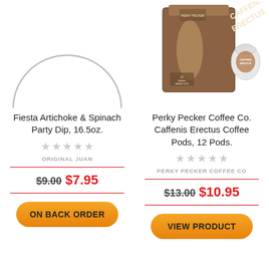[Figure (photo): Partial view of a bowl/plate shown from above, with a circular grey arc visible, white background]
[Figure (photo): Box of Perky Pecker Coffee Co. Caffenis Erectus Coffee Pods, 12 pods, brown box with illustrated figure, alongside a single coffee pod/K-cup]
Fiesta Artichoke & Spinach Party Dip, 16.5oz.
★★★★★ (empty stars)
ORIGINAL JUAN
$9.00 $7.95
ON BACK ORDER
Perky Pecker Coffee Co. Caffenis Erectus Coffee Pods, 12 Pods.
★★★★★ (empty stars)
PERKY PECKER COFFEE CO
$13.00 $10.95
VIEW PRODUCT